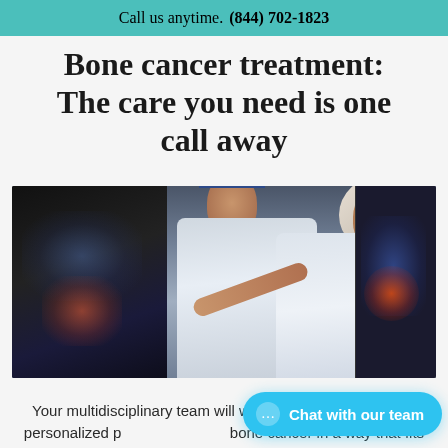Call us anytime. (844) 702-1823
Bone cancer treatment: The care you need is one call away
[Figure (photo): Two medical professionals in white coats reviewing medical imaging scans on monitors. One doctor wearing a blue surgical cap points at a dark imaging screen on the left, while a female doctor wearing a hijab and glasses looks on. Medical imaging screens including what appears to be an MRI scan are visible in the background.]
Your multidisciplinary team will work with you to develop a personalized plan to treat your bone cancer in a way that fits your individual